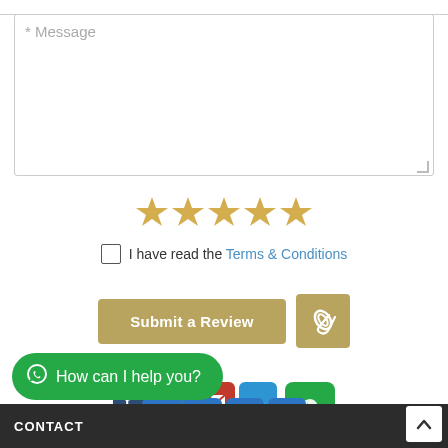* Message
[Figure (other): Five gold star rating icons]
I have read the Terms & Conditions
[Figure (other): Submit a Review button and paperclip attachment button]
[Figure (other): Social media sharing icons row (Tumblr, LinkedIn, Email, Messenger, WhatsApp)]
[Figure (other): WhatsApp chat bubble: How can I help you?]
[Figure (other): Social media icons bottom row (Email, Bookmark, Globe, Plus)]
CONTACT